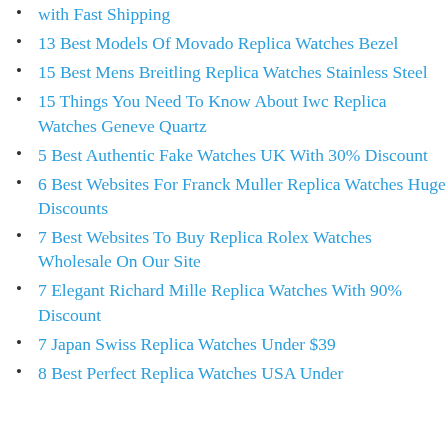with Fast Shipping
13 Best Models Of Movado Replica Watches Bezel
15 Best Mens Breitling Replica Watches Stainless Steel
15 Things You Need To Know About Iwc Replica Watches Geneve Quartz
5 Best Authentic Fake Watches UK With 30% Discount
6 Best Websites For Franck Muller Replica Watches Huge Discounts
7 Best Websites To Buy Replica Rolex Watches Wholesale On Our Site
7 Elegant Richard Mille Replica Watches With 90% Discount
7 Japan Swiss Replica Watches Under $39
8 Best Perfect Replica Watches USA Under